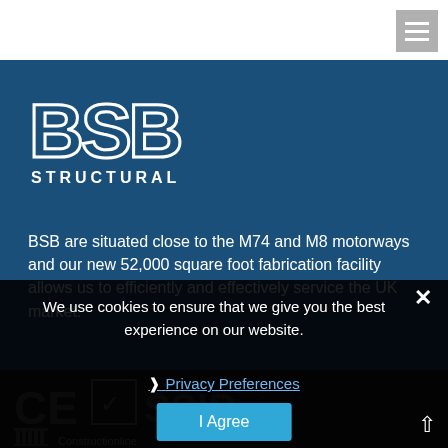[Figure (logo): BSB Structural company logo — large white block letters BSB with outlined style above smaller spaced-out word STRUCTURAL, all on dark blue background]
BSB are situated close to the M74 and M8 motorways and our new 52,000 square foot fabrication facility allows us to efficiently and effectively service the UK market.
We use cookies to ensure that we give you the best experience on our website.
❯ Privacy Preferences
I Agree
[Figure (logo): Row of certification logos including CE mark, SSIP logo, and Construction line at the bottom of the page on dark background]